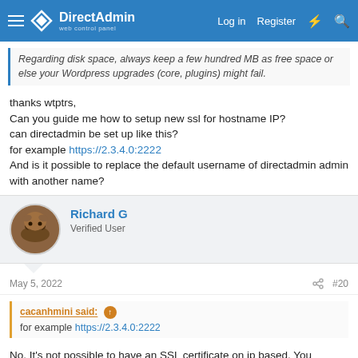DirectAdmin web control panel — Log in | Register
Regarding disk space, always keep a few hundred MB as free space or else your Wordpress upgrades (core, plugins) might fail.
thanks wtptrs,
Can you guide me how to setup new ssl for hostname IP?
can directadmin be set up like this?
for example https://2.3.4.0:2222
And is it possible to replace the default username of directadmin admin with another name?
Richard G
Verified User
May 5, 2022
#20
cacanhmini said: ↑
for example https://2.3.4.0:2222
No. It's not possible to have an SSL certificate on ip based. You